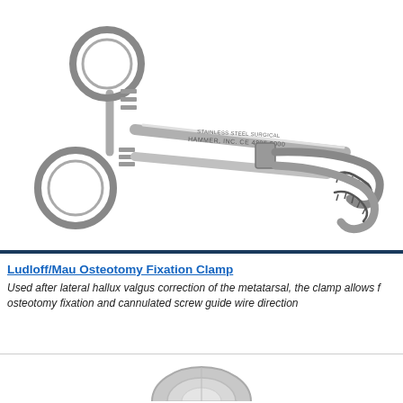[Figure (photo): Ludloff/Mau Osteotomy Fixation Clamp surgical instrument — a metal clamp with ring handles, ratchet lock, and curved serrated jaws, shown at a diagonal angle with manufacturer markings on the shaft.]
Ludloff/Mau Osteotomy Fixation Clamp
Used after lateral hallux valgus correction of the metatarsal, the clamp allows for osteotomy fixation and cannulated screw guide wire direction
[Figure (photo): Partial view of another surgical instrument at the bottom of the page.]